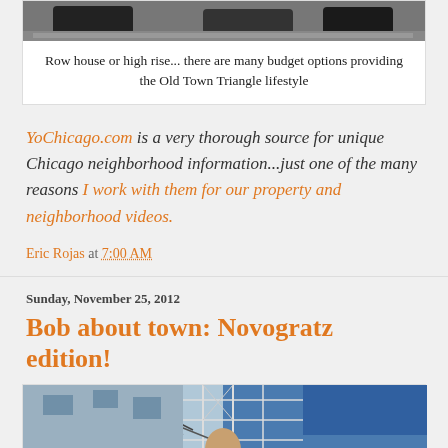[Figure (photo): Street photo showing cars parked, cropped at top of page]
Row house or high rise... there are many budget options providing the Old Town Triangle lifestyle
YoChicago.com is a very thorough source for unique Chicago neighborhood information...just one of the many reasons I work with them for our property and neighborhood videos.
Eric Rojas at 7:00 AM
Sunday, November 25, 2012
Bob about town: Novogratz edition!
[Figure (photo): Photo of a person in front of construction scaffolding with blue tarps]